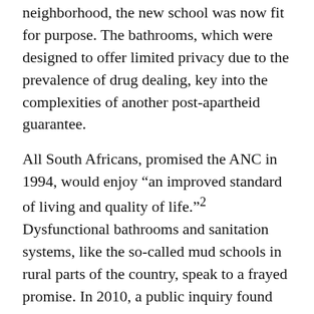neighborhood, the new school was now fit for purpose. The bathrooms, which were designed to offer limited privacy due to the prevalence of drug dealing, key into the complexities of another post-apartheid guarantee.
All South Africans, promised the ANC in 1994, would enjoy "an improved standard of living and quality of life."2 Dysfunctional bathrooms and sanitation systems, like the so-called mud schools in rural parts of the country, speak to a frayed promise. In 2010, a public inquiry found that Cape Town's metropolitan government had violated the human rights of Khayelitsha's residents by installing toilets without enclosures. Five years on, Chumani Maxwele, a student at the University of Cape Town (UCT), unwittingly sparked a social revolution when he scooped feces from one of